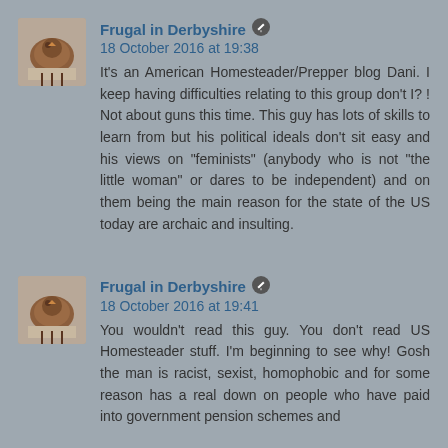[Figure (photo): Avatar image of a chicken/hen, brownish tones]
Frugal in Derbyshire ✏ 18 October 2016 at 19:38
It's an American Homesteader/Prepper blog Dani. I keep having difficulties relating to this group don't I? ! Not about guns this time. This guy has lots of skills to learn from but his political ideals don't sit easy and his views on "feminists" (anybody who is not "the little woman" or dares to be independent) and on them being the main reason for the state of the US today are archaic and insulting.
[Figure (photo): Avatar image of a chicken/hen, brownish tones]
Frugal in Derbyshire ✏ 18 October 2016 at 19:41
You wouldn't read this guy. You don't read US Homesteader stuff. I'm beginning to see why! Gosh the man is racist, sexist, homophobic and for some reason has a real down on people who have paid into government pension schemes and